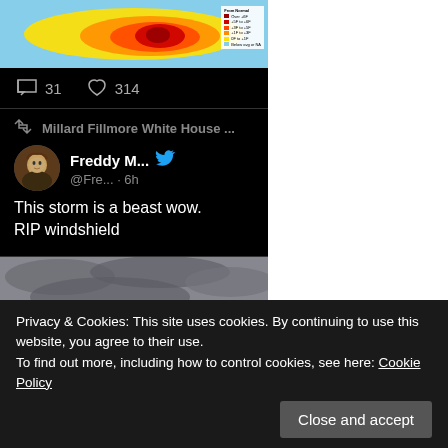[Figure (map): Heat map of the United States showing temperature anomalies, with a color legend in the top-right corner labeled 'From Normal' with colored swatches ranging from cool to very warm.]
31  314
Millard Fillmore White House ...
Freddy M... @Fre... · 6h
This storm is a beast wow. RIP windshield
[Figure (photo): Stormy sky photo with dark clouds]
Privacy & Cookies: This site uses cookies. By continuing to use this website, you agree to their use.
To find out more, including how to control cookies, see here: Cookie Policy
Close and accept